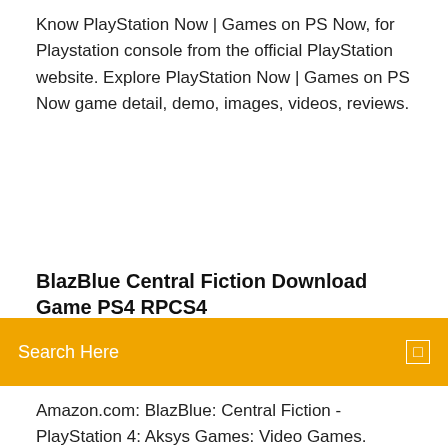Know PlayStation Now | Games on PS Now, for Playstation console from the official PlayStation website. Explore PlayStation Now | Games on PS Now game detail, demo, images, videos, reviews.
BlazBlue Central Fiction Download Game PS4 RPCS4
Search Here
Amazon.com: BlazBlue: Central Fiction - PlayStation 4: Aksys Games: Video Games. Square Enix Million Arthur Arcana Blood SONY PS4 PLAYSTATION 4  BlazBlue: Central Fiction is another installment of the renowned series of two-dimensional fighting games. This installment finishes the story started in 2009 with 2 Apr 2018 Free download. BBCF Improvement Mod is a mod for BlazBlue: Central Fiction, created by KoviDomi. Description (in author's own words):. BlazBlue: Central Fiction, released in Japan as BlazBlue: Centralfiction (ブレイブルー All 28 fighters from